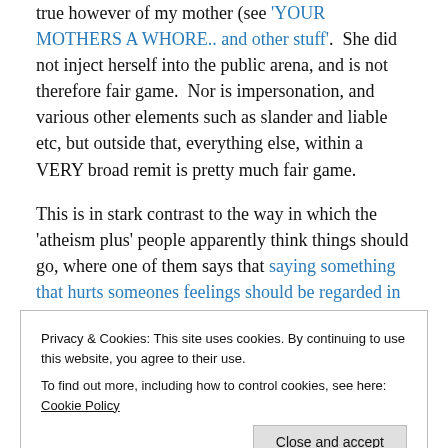true however of my mother (see 'YOUR MOTHERS A WHORE.. and other stuff'.  She did not inject herself into the public arena, and is not therefore fair game.  Nor is impersonation, and various other elements such as slander and liable etc, but outside that, everything else, within a VERY broad remit is pretty much fair game.
This is in stark contrast to the way in which the 'atheism plus' people apparently think things should go, where one of them says that saying something that hurts someones feelings should be regarded in the same fashion as physical assault.
Privacy & Cookies: This site uses cookies. By continuing to use this website, you agree to their use. To find out more, including how to control cookies, see here: Cookie Policy
This is simply bullshit, and it is a damning indictment